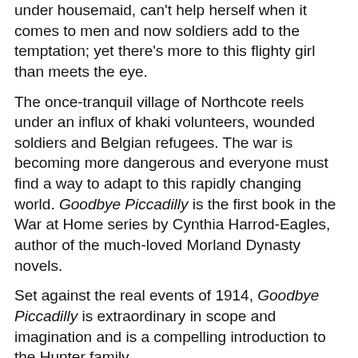under housemaid, can't help herself when it comes to men and now soldiers add to the temptation; yet there's more to this flighty girl than meets the eye.
The once-tranquil village of Northcote reels under an influx of khaki volunteers, wounded soldiers and Belgian refugees. The war is becoming more dangerous and everyone must find a way to adapt to this rapidly changing world. Goodbye Piccadilly is the first book in the War at Home series by Cynthia Harrod-Eagles, author of the much-loved Morland Dynasty novels.
Set against the real events of 1914, Goodbye Piccadilly is extraordinary in scope and imagination and is a compelling introduction to the Hunter family.
My Review:
A later book in the series caught my eye on the New Book shelf at the library, and I'm a sucker for WWI stories, so I decided to take a chance and start the series. Certainly lots of the reviews raved about it, though a few gave me pause.
I should have paid more attention to the negative reviews.